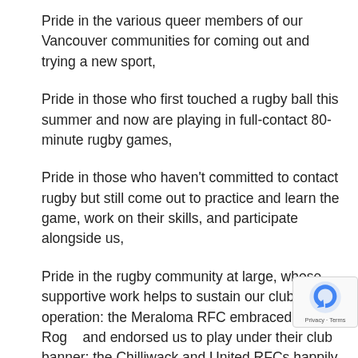Pride in the various queer members of our Vancouver communities for coming out and trying a new sport,
Pride in those who first touched a rugby ball this summer and now are playing in full-contact 80-minute rugby games,
Pride in those who haven't committed to contact rugby but still come out to practice and learn the game, work on their skills, and participate alongside us,
Pride in the rugby community at large, whose supportive work helps to sustain our club's operation: the Meraloma RFC embraced the Rog... and endorsed us to play under their club banner; the Chilliwack and United RFCs happily send play... to bolster our numbers when needed and provide